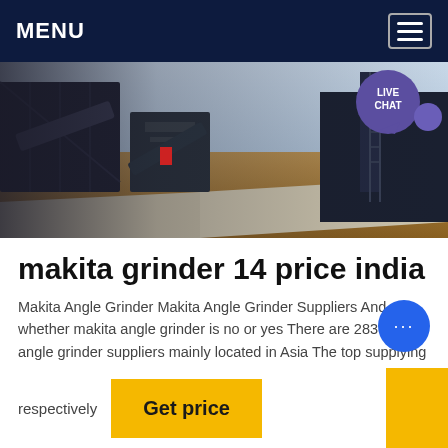MENU
[Figure (photo): Industrial mining/crushing equipment machinery on a sandy construction site with conveyor belts and heavy equipment. A 'LIVE CHAT' bubble is overlaid in the top-right corner of the image.]
makita grinder 14 price india
Makita Angle Grinder Makita Angle Grinder Suppliers And whether makita angle grinder is no or yes There are 283 makita angle grinder suppliers mainly located in Asia The top supplying countries are China Japan and India supply 92% 4% and 1% of makita angle grinder
respectively
Get price